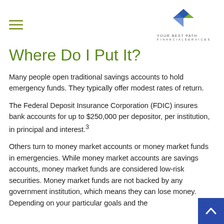YOUR BEST PATH
Where Do I Put It?
Many people open traditional savings accounts to hold emergency funds. They typically offer modest rates of return.
The Federal Deposit Insurance Corporation (FDIC) insures bank accounts for up to $250,000 per depositor, per institution, in principal and interest.³
Others turn to money market accounts or money market funds in emergencies. While money market accounts are savings accounts, money market funds are considered low-risk securities. Money market funds are not backed by any government institution, which means they can lose money. Depending on your particular goals and the